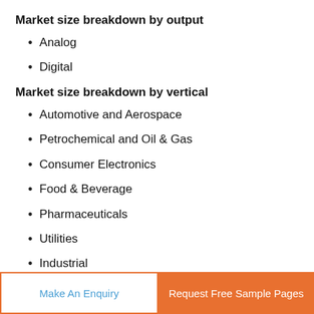Market size breakdown by output
Analog
Digital
Market size breakdown by vertical
Automotive and Aerospace
Petrochemical and Oil & Gas
Consumer Electronics
Food & Beverage
Pharmaceuticals
Utilities
Industrial
Make An Enquiry | Request Free Sample Pages